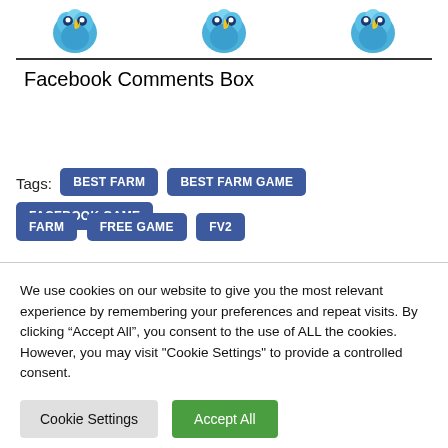[Figure (illustration): Three blue cartoon bug/seed icons with yellow flame symbols arranged in a row]
Facebook Comments Box
Tags:
BEST FARM
BEST FARM GAME
FACEBOOK GAME
FARM
FREE GAME
FV2
We use cookies on our website to give you the most relevant experience by remembering your preferences and repeat visits. By clicking “Accept All”, you consent to the use of ALL the cookies. However, you may visit "Cookie Settings" to provide a controlled consent.